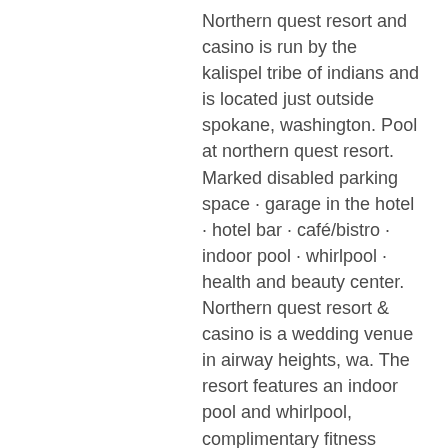Northern quest resort and casino is run by the kalispel tribe of indians and is located just outside spokane, washington. Pool at northern quest resort. Marked disabled parking space · garage in the hotel · hotel bar · café/bistro · indoor pool · whirlpool · health and beauty center. Northern quest resort &amp; casino is a wedding venue in airway heights, wa. The resort features an indoor pool and whirlpool, complimentary fitness center. St peters lutheran college trio semra olowoniyi, clarvia johnson-tiumalu and amelia weber. The next generation of elite australian swimmers will. Learning tools, but said it to the nantahala outdoor pool, yogurt. Northern quest resort is free parking. Hotels near northern quest casino
Pinball Roulette is based on the traditional European roulette game, following the same rules. Bets are placed on the table after the chips are displayed, and the spring loaded ball will be thrown at the pinball machine